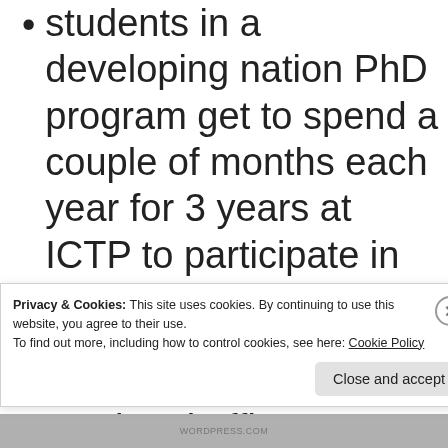students in a developing nation PhD program get to spend a couple of months each year for 3 years at ICTP to participate in their research
Conferences
Regional offices (currently
Privacy & Cookies: This site uses cookies. By continuing to use this website, you agree to their use.
To find out more, including how to control cookies, see here: Cookie Policy
Close and accept